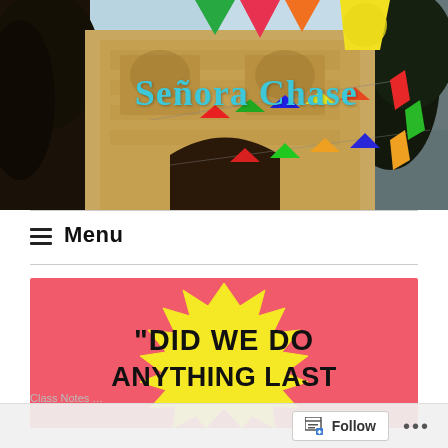[Figure (photo): Header photo of a Mexican colonial church facade decorated with colorful papel picado (paper flags) and festive bunting. Trees visible on left and right sides, blue sky in background. The blog title 'Señora Chase' is overlaid in cyan/teal text.]
Señora Chase
≡ Menu
[Figure (infographic): Promotional banner with red/coral background and yellow starburst/explosion shape containing the text: "DID WE DO ANYTHING LAST" in bold black comic-style font.]
Follow ...